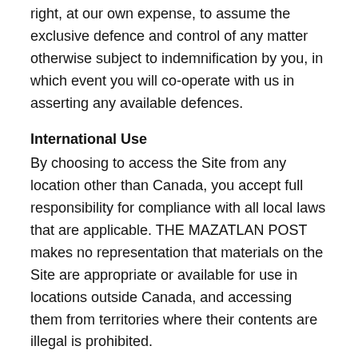right, at our own expense, to assume the exclusive defence and control of any matter otherwise subject to indemnification by you, in which event you will co-operate with us in asserting any available defences.
International Use
By choosing to access the Site from any location other than Canada, you accept full responsibility for compliance with all local laws that are applicable. THE MAZATLAN POST makes no representation that materials on the Site are appropriate or available for use in locations outside Canada, and accessing them from territories where their contents are illegal is prohibited.
Security Precautions
The services and information provided are protected using industry standard security precautions. It is up to you to fully understand the risks and threats of using the public Internet